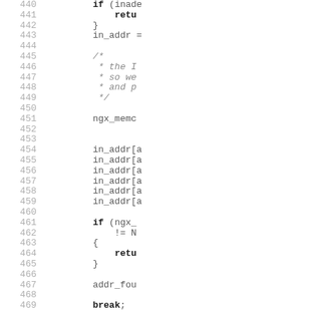Source code listing lines 440-469 (C/nginx code, clipped on right side)